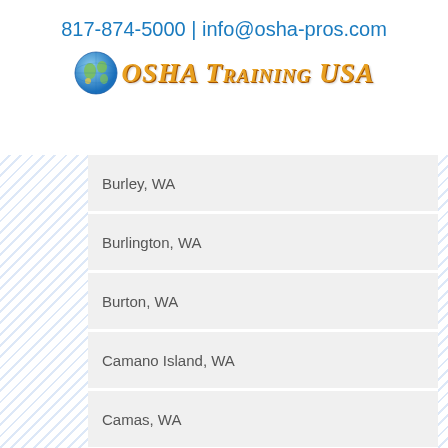817-874-5000 | info@osha-pros.com
[Figure (logo): OSHA Training USA logo with globe icon]
Burley, WA
Burlington, WA
Burton, WA
Camano Island, WA
Camas, WA
Camp Murray, WA
Carbonado, WA
Carlsborg, WA